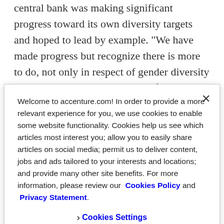central bank was making significant progress toward its own diversity targets and hoped to lead by example. “We have made progress but recognize there is more to do, not only in respect of gender diversity but also in ensuring that people feel able to join and thrive in the Bank of England regardless of their identity,” Place said. “We know that advancing gender diversity and wider
Welcome to accenture.com! In order to provide a more relevant experience for you, we use cookies to enable some website functionality. Cookies help us see which articles most interest you; allow you to easily share articles on social media; permit us to deliver content, jobs and ads tailored to your interests and locations; and provide many other site benefits. For more information, please review our Cookies Policy and Privacy Statement.
› Cookies Settings